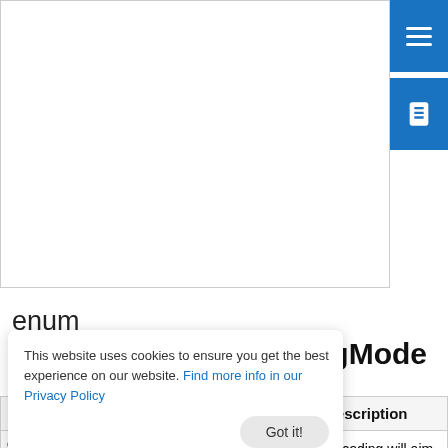must wait for access to necessary resources.
enum QMultimedia::EncodingMode
Enumerates encoding modes.
| Constant | Value | Description |
| --- | --- | --- |
| QMultimedia::ConstantQualityEncoding | 0 | Encoding will aim to have a constant quality, adjusting bitrate to fit |
This website uses cookies to ensure you get the best experience on our website. Find more info in our Privacy Policy